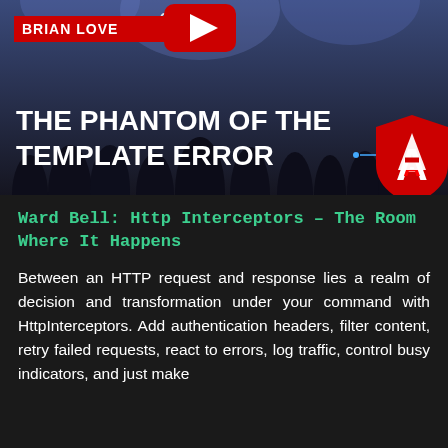[Figure (screenshot): YouTube video thumbnail for 'The Phantom of the Template Error' by Brian Love, showing a conference stage with crowd. Features YouTube play button, Angular logo shield, CONF HARDWIRED branding, and bold white title text.]
Ward Bell: Http Interceptors – The Room Where It Happens
Between an HTTP request and response lies a realm of decision and transformation under your command with HttpInterceptors. Add authentication headers, filter content, retry failed requests, react to errors, log traffic, control busy indicators, and just make